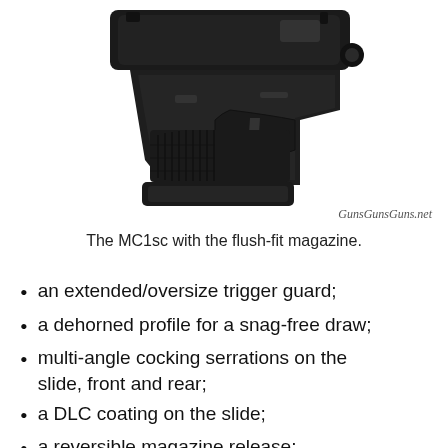[Figure (photo): A black compact pistol (MC1sc) shown from the left side, with the flush-fit magazine inserted. The grip has textured panels and the trigger guard is visible. Watermark: GunsGunsGuns.net]
The MC1sc with the flush-fit magazine.
an extended/oversize trigger guard;
a dehorned profile for a snag-free draw;
multi-angle cocking serrations on the slide, front and rear;
a DLC coating on the slide;
a reversible magazine release;
one six-round, single-stack, flush-fit,